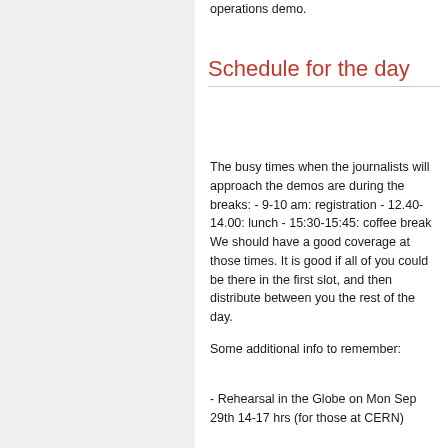operations demo.
Schedule for the day
The busy times when the journalists will approach the demos are during the breaks: - 9-10 am: registration - 12.40-14.00: lunch - 15:30-15:45: coffee break We should have a good coverage at those times. It is good if all of you could be there in the first slot, and then distribute between you the rest of the day.
Some additional info to remember:
- Rehearsal in the Globe on Mon Sep 29th 14-17 hrs (for those at CERN)